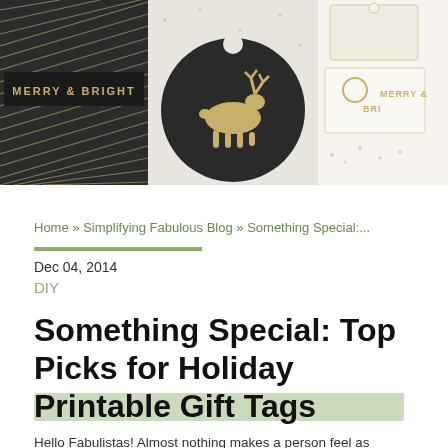[Figure (photo): Holiday gift tags and wrapping accessories. Left panel shows dark background with gold 'MERRY & BRIGHT' text and diagonal stripes. Center shows a dark circular gift tag with a gold leaping reindeer. Right panel shows white/cream gift tags with 'MERRY & BRIGHT' in gold lettering.]
Home » Simplifying Fabulous Blog » Something Special:...
Dec 04, 2014
DIY
Something Special: Top Picks for Holiday Printable Gift Tags
Hello Fabulistas! Almost nothing makes a person feel as